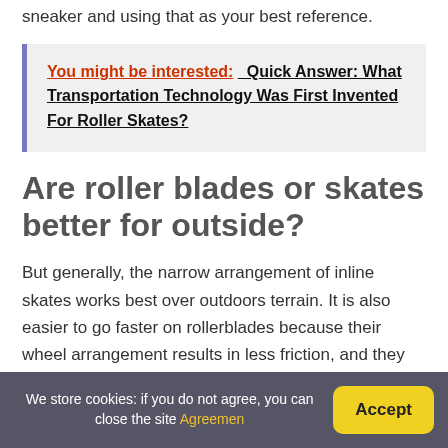sneaker and using that as your best reference.
You might be interested:  Quick Answer: What Transportation Technology Was First Invented For Roller Skates?
Are roller blades or skates better for outside?
But generally, the narrow arrangement of inline skates works best over outdoors terrain. It is also easier to go faster on rollerblades because their wheel arrangement results in less friction, and they
We store cookies: if you do not agree, you can close the site Agreemen  Accept